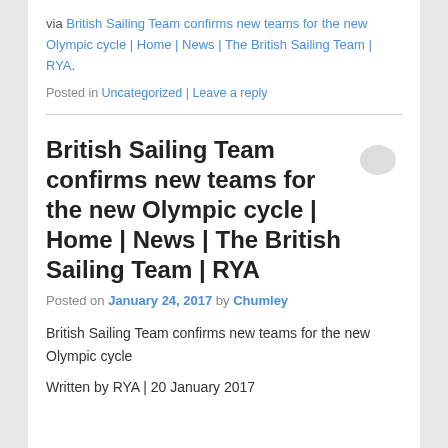via British Sailing Team confirms new teams for the new Olympic cycle | Home | News | The British Sailing Team | RYA.
Posted in Uncategorized | Leave a reply
British Sailing Team confirms new teams for the new Olympic cycle | Home | News | The British Sailing Team | RYA
Posted on January 24, 2017 by Chumley
British Sailing Team confirms new teams for the new Olympic cycle
Written by RYA | 20 January 2017